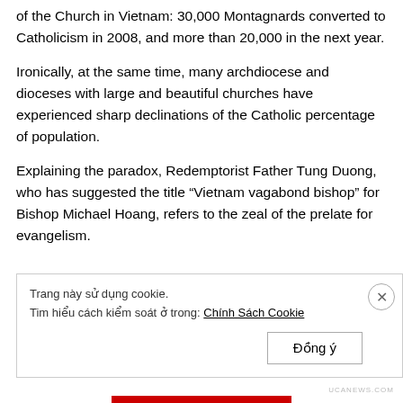of the Church in Vietnam: 30,000 Montagnards converted to Catholicism in 2008, and more than 20,000 in the next year.
Ironically, at the same time, many archdiocese and dioceses with large and beautiful churches have experienced sharp declinations of the Catholic percentage of population.
Explaining the paradox, Redemptorist Father Tung Duong, who has suggested the title “Vietnam vagabond bishop” for Bishop Michael Hoang, refers to the zeal of the prelate for evangelism.
Trang này sử dụng cookie.
Tim hiểu cách kiểm soát ở trong: Chính Sách Cookie
Đồng ý